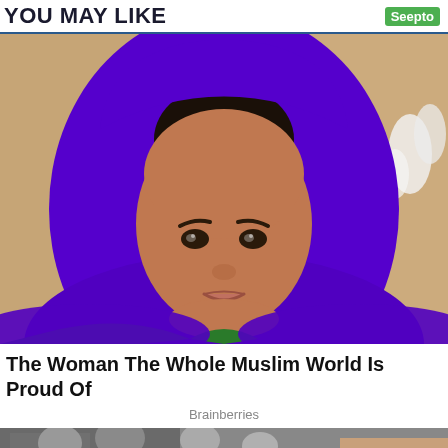YOU MAY LIKE
[Figure (photo): Woman wearing a purple hijab and green embroidered top, looking at camera against a tan/beige background]
The Woman The Whole Muslim World Is Proud Of
Brainberries
[Figure (photo): Group of people at an event, with white hats visible in the foreground including one with a 'P' logo and one with 'ONE' text]